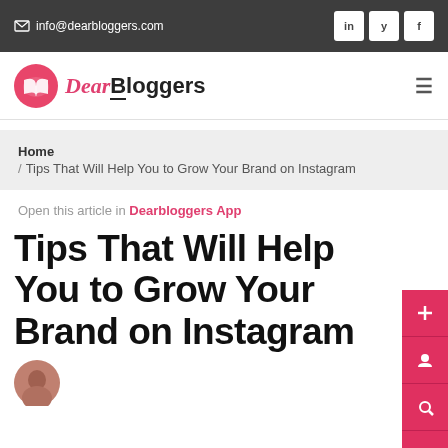info@dearbloggers.com | in | y | f
[Figure (logo): DearBloggers logo with pink open-book icon and stylized text]
Home / Tips That Will Help You to Grow Your Brand on Instagram
Open this article in Dearbloggers App
Tips That Will Help You to Grow Your Brand on Instagram